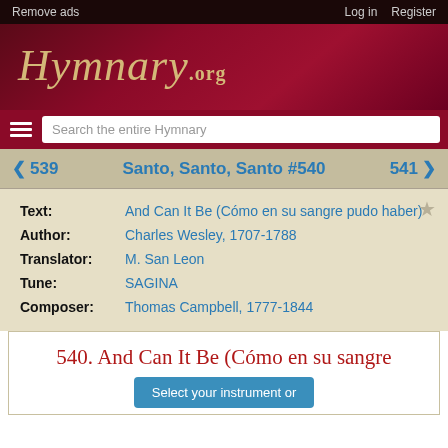Remove ads | Log in | Register
[Figure (logo): Hymnary.org website logo with italic script text on dark red/maroon background]
Search the entire Hymnary
< 539  Santo, Santo, Santo #540  541 >
Text: And Can It Be (Cómo en su sangre pudo haber)
Author: Charles Wesley, 1707-1788
Translator: M. San Leon
Tune: SAGINA
Composer: Thomas Campbell, 1777-1844
540. And Can It Be (Cómo en su sangre pudo haber)
Select your instrument or